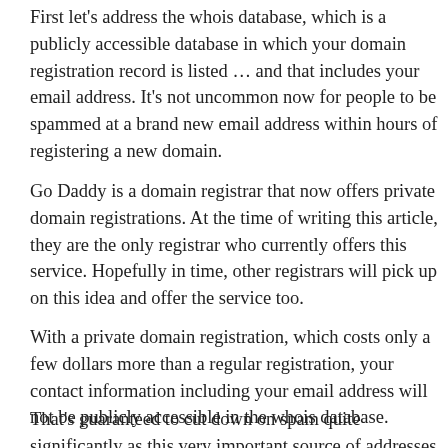First let's address the whois database, which is a publicly accessible database in which your domain registration record is listed … and that includes your email address. It's not uncommon now for people to be spammed at a brand new email address within hours of registering a new domain.
Go Daddy is a domain registrar that now offers private domain registrations. At the time of writing this article, they are the only registrar who currently offers this service. Hopefully in time, other registrars will pick up on this idea and offer the service too.
With a private domain registration, which costs only a few dollars more than a regular registration, your contact information including your email address will not be publicly accessible in the whois database.
That's guaranteed to cut down on spam quite significantly as this very important source of addresses that spammers